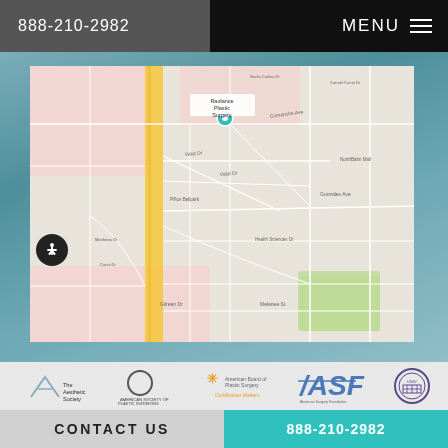888-210-2982
MENU
[Figure (map): Google Maps view showing location of Radiance Plastic Surgery in a suburban area with streets, a yellow highway, green park areas, and pink residential zones. A location pin marks 'Radiance Plastic Surgery'.]
[Figure (logo): The Aesthetic Society logo]
[Figure (logo): American Society of Plastic Surgeons logo]
[Figure (logo): American Board of Plastic Surgery logo]
[Figure (logo): ASF logo]
[Figure (logo): University seal logo]
CONTACT US
888-210-2982